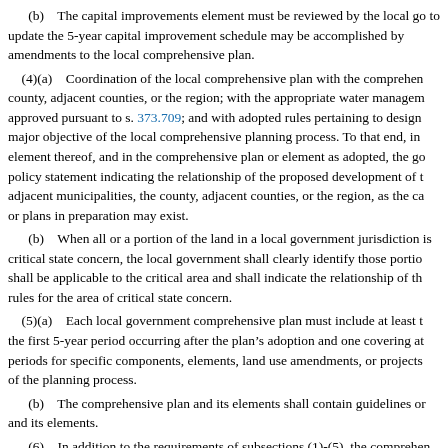(b) The capital improvements element must be reviewed by the local go... to update the 5-year capital improvement schedule may be accomplished by amendments to the local comprehensive plan.
(4)(a) Coordination of the local comprehensive plan with the comprehensive plans of county, adjacent counties, or the region; with the appropriate water management district plan approved pursuant to s. 373.709; and with adopted rules pertaining to designated areas... major objective of the local comprehensive planning process. To that end, in each local plan or element thereof, and in the comprehensive plan or element as adopted, the governing body shall policy statement indicating the relationship of the proposed development of the municipality or adjacent municipalities, the county, adjacent counties, or the region, as the case may be, or plans in preparation may exist.
(b) When all or a portion of the land in a local government jurisdiction is... critical state concern, the local government shall clearly identify those portions... shall be applicable to the critical area and shall indicate the relationship of the... rules for the area of critical state concern.
(5)(a) Each local government comprehensive plan must include at least the first 5-year period occurring after the plan's adoption and one covering at least periods for specific components, elements, land use amendments, or projects... of the planning process.
(b) The comprehensive plan and its elements shall contain guidelines or... and its elements.
(6) In addition to the requirements of subsections (1)-(5), the comprehensive elements: